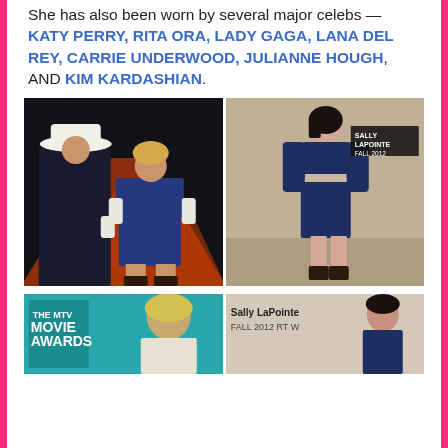She has also been worn by several major celebs — KATY PERRY, RITA ORA, LADY GAGA, LANA DEL REY, CARRIE UNDERWOOD, JULIANNE HOUGH, AND KIM KARDASHIAN.
[Figure (photo): Two-photo side-by-side: left shows a man in a black suit and cowboy hat standing next to a woman in a navy blue crop top and skirt with white gloves, on a stage; right shows a runway model wearing the same navy Sally LaPointe Fall 2012 look.]
[Figure (photo): Two-photo side-by-side: left shows a woman at the MTV Movie Awards with blonde hair; right shows Sally LaPointe Fall 2012 RTW runway photo.]